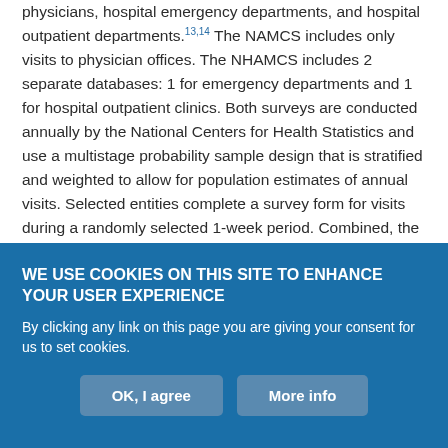physicians, hospital emergency departments, and hospital outpatient departments.13,14 The NAMCS includes only visits to physician offices. The NHAMCS includes 2 separate databases: 1 for emergency departments and 1 for hospital outpatient clinics. Both surveys are conducted annually by the National Centers for Health Statistics and use a multistage probability sample design that is stratified and weighted to allow for population estimates of annual visits. Selected entities complete a survey form for visits during a randomly selected 1-week period. Combined, the surveys represent about 90% of US ambulatory visits with the exception of federal, veterans, and military outpatient facilities. The analysis is restricted to patients aged 13 through 54 years, inclusive, as they account for
WE USE COOKIES ON THIS SITE TO ENHANCE YOUR USER EXPERIENCE
By clicking any link on this page you are giving your consent for us to set cookies.